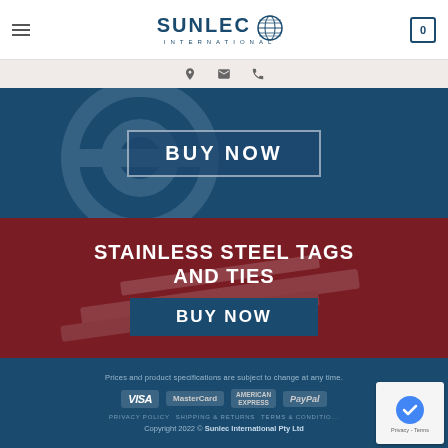Sunlec International - navigation header with logo, hamburger menu, and cart icon
[Figure (screenshot): Contact bar with location pin, email, and phone icons on light beige background]
[Figure (screenshot): Blue banner with BUY NOW button and circular graphic watermark]
STAINLESS STEEL TAGS AND TIES
[Figure (screenshot): BUY NOW button on dark red/maroon banner with stainless steel tags background]
Prices and product specifications are subject to change at any time. VISA MasterCard AMERICAN EXPRESS PayPal. PRIVACY POLICY  SHIPPING & RETURNS  TERMS & CONDITIONS. Copyright 2022 © Sunlec International Pty Ltd